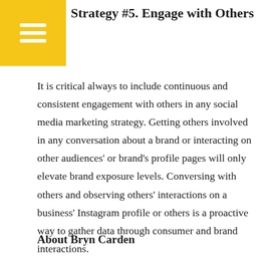Strategy #5. Engage with Others
It is critical always to include continuous and consistent engagement with others in any social media marketing strategy. Getting others involved in any conversation about a brand or interacting on other audiences' or brand's profile pages will only elevate brand exposure levels. Conversing with others and observing others' interactions on a business' Instagram profile or others is a proactive way to gather data through consumer and brand interactions.
About Bryn Carden